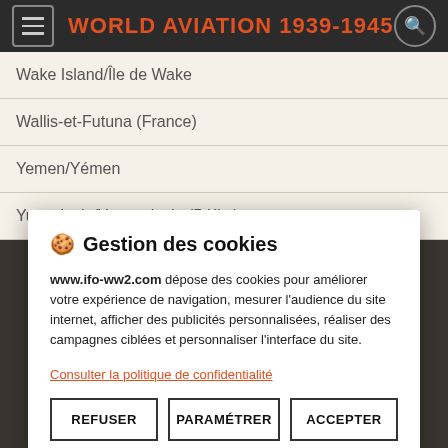WORLD AVIATION 1939-1945
Wake Island/Île de Wake
Wallis-et-Futuna (France)
Yemen/Yémen
Yugoslavia/Yougoslavie (5 Kits)
🍪  Gestion des cookies
www.ifo-ww2.com dépose des cookies pour améliorer votre expérience de navigation, mesurer l'audience du site internet, afficher des publicités personnalisées, réaliser des campagnes ciblées et personnaliser l'interface du site.
Consulter la politique de confidentialité
REFUSER   PARAMÉTRER   ACCEPTER